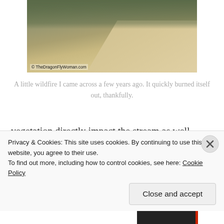[Figure (photo): Photograph of a dirt road through dry scrubland vegetation, with copyright watermark '© TheDragonFlyWoman.com' in the lower left corner.]
A little wildfire I came across a few years ago. It quickly burned itself out, thankfully.
vegetation directly impact the stream as well.  Shade is eliminated and water temperatures rise.  Insects that depend on cold water might not survive.  Vegetation is also a very important food source in the headwater regions of streams, providing essential nutrients to the
Privacy & Cookies: This site uses cookies. By continuing to use this website, you agree to their use.
To find out more, including how to control cookies, see here: Cookie Policy
Close and accept